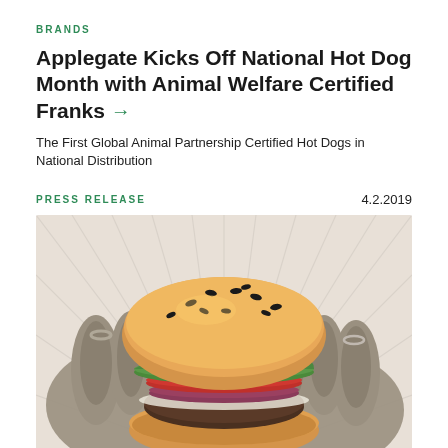BRANDS
Applegate Kicks Off National Hot Dog Month with Animal Welfare Certified Franks →
The First Global Animal Partnership Certified Hot Dogs in National Distribution
PRESS RELEASE   4.2.2019
[Figure (photo): Two hands holding a large burger with sesame seed bun, lettuce, tomato, red onion, and a beef patty against a radiating light background]